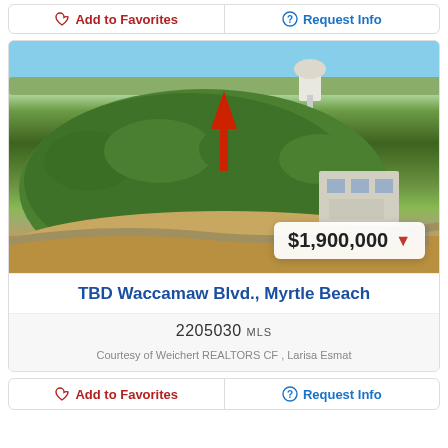Add to Favorites | Request Info
[Figure (photo): Aerial drone photo of a wooded land parcel at TBD Waccamaw Blvd., Myrtle Beach, with a large red arrow pointing to the lot, a water tower visible in the background, and commercial buildings to the right. Price badge showing $1,900,000 with a red down-triangle.]
TBD Waccamaw Blvd., Myrtle Beach
2205030 MLS
Courtesy of Weichert REALTORS CF , Larisa Esmat
Add to Favorites | Request Info